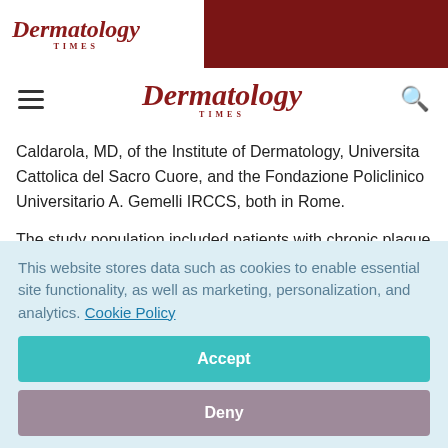Dermatology Times
Caldarola, MD, of the Institute of Dermatology, Universita Cattolica del Sacro Cuore, and the Fondazione Policlinico Universitario A. Gemelli IRCCS, both in Rome.
The study population included patients with chronic plaque psoriasis who attended outpatient clinics at five participating dermatologic treatment centers in Italy and
This website stores data such as cookies to enable essential site functionality, as well as marketing, personalization, and analytics. Cookie Policy
Accept
Deny